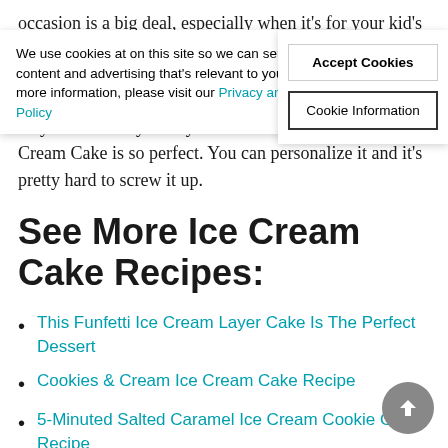We use cookies at on this site so we can serve up content and advertising that's relevant to you. For more information, please visit our Privacy and Cookie Policy
Accept Cookies
Cookie Information
occasion is a big deal, especially when it's for your kid's birthday and you want to make it special and memorable. It costs a small fortune to bake a cake for a crowd and there's all the pressure to get it right. That's why this Friendly's Crayola Decorate Your Own Ice Cream Cake is so perfect. You can personalize it and it's pretty hard to screw it up.
See More Ice Cream Cake Recipes:
This Funfetti Ice Cream Layer Cake Is The Perfect Dessert
Cookies & Cream Ice Cream Cake Recipe
5-Minuted Salted Caramel Ice Cream Cookie Cake Recipe